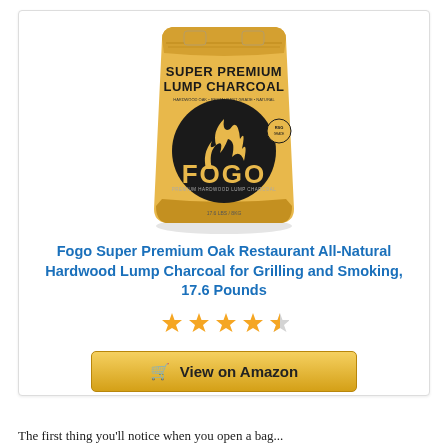[Figure (photo): Yellow bag of Fogo Super Premium Lump Charcoal with FOGO logo and flame design]
Fogo Super Premium Oak Restaurant All-Natural Hardwood Lump Charcoal for Grilling and Smoking, 17.6 Pounds
[Figure (other): 4.5 out of 5 stars rating shown as gold star icons]
[Figure (other): View on Amazon button with shopping cart icon]
The first thing you'll notice when you open a bag...